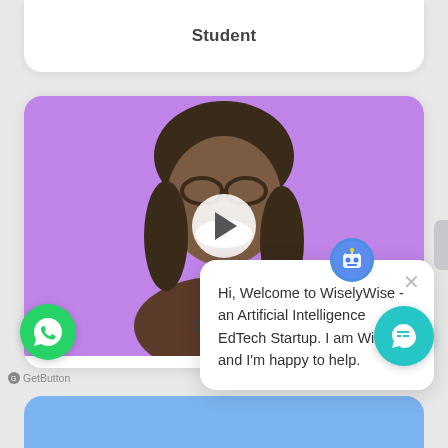Student
[Figure (screenshot): Video thumbnail with purple background showing a smiling person with dark hair, with a circular play button overlay in the center]
K
Hi, Welcome to WiselyWise - an Artificial Intelligence EdTech Startup. I am WiseBot and I'm happy to help.
Student
[Figure (logo): WhatsApp green circular button with phone icon]
GetButton
[Figure (illustration): Teal circular chat widget button with speech bubble icon]